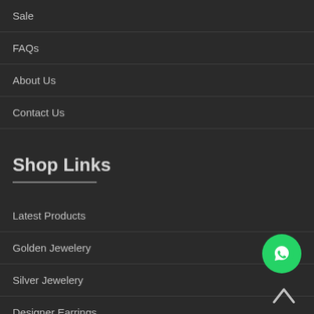Sale
FAQs
About Us
Contact Us
Shop Links
Latest Products
Golden Jewelery
Silver Jewelery
Designer Earrings
Size Chart
[Figure (illustration): WhatsApp floating chat button (green circle with WhatsApp logo)]
[Figure (illustration): Back to top arrow button (upward chevron/caret)]